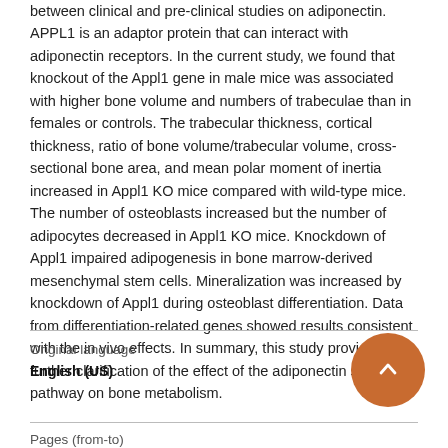between clinical and pre-clinical studies on adiponectin. APPL1 is an adaptor protein that can interact with adiponectin receptors. In the current study, we found that knockout of the Appl1 gene in male mice was associated with higher bone volume and numbers of trabeculae than in females or controls. The trabecular thickness, cortical thickness, ratio of bone volume/trabecular volume, cross-sectional bone area, and mean polar moment of inertia increased in Appl1 KO mice compared with wild-type mice. The number of osteoblasts increased but the number of adipocytes decreased in Appl1 KO mice. Knockdown of Appl1 impaired adipogenesis in bone marrow-derived mesenchymal stem cells. Mineralization was increased by knockdown of Appl1 during osteoblast differentiation. Data from differentiation-related genes showed results consistent with the in vivo effects. In summary, this study provides further clarification of the effect of the adiponectin signaling pathway on bone metabolism.
| Original language |  |
| --- | --- |
| English (US) |  |
| Pages (from-to) |  |